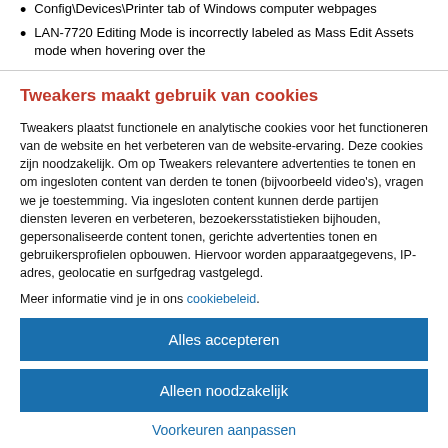Config\Devices\Printer tab of Windows computer webpages
LAN-7720 Editing Mode is incorrectly labeled as Mass Edit Assets mode when hovering over the
Tweakers maakt gebruik van cookies
Tweakers plaatst functionele en analytische cookies voor het functioneren van de website en het verbeteren van de website-ervaring. Deze cookies zijn noodzakelijk. Om op Tweakers relevantere advertenties te tonen en om ingesloten content van derden te tonen (bijvoorbeeld video's), vragen we je toestemming. Via ingesloten content kunnen derde partijen diensten leveren en verbeteren, bezoekersstatistieken bijhouden, gepersonaliseerde content tonen, gerichte advertenties tonen en gebruikersprofielen opbouwen. Hiervoor worden apparaatgegevens, IP-adres, geolocatie en surfgedrag vastgelegd.
Meer informatie vind je in ons cookiebeleid.
Alles accepteren
Alleen noodzakelijk
Voorkeuren aanpassen